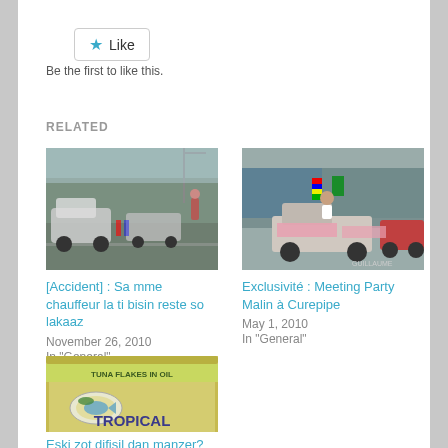[Figure (other): Like button with star icon]
Be the first to like this.
RELATED
[Figure (photo): Photo of cars and people on a road, appears to be an accident or procession scene]
[Figure (photo): Photo of a political rally or meeting with flags and banners on pickup trucks]
[Accident] : Sa mme chauffeur la ti bisin reste so lakaaz
November 26, 2010
In "General"
Exclusivité : Meeting Party Malin à Curepipe
May 1, 2010
In "General"
[Figure (photo): Photo of a Tropical Tuna Flakes in Oil can]
Eski zot difisil dan manzer?